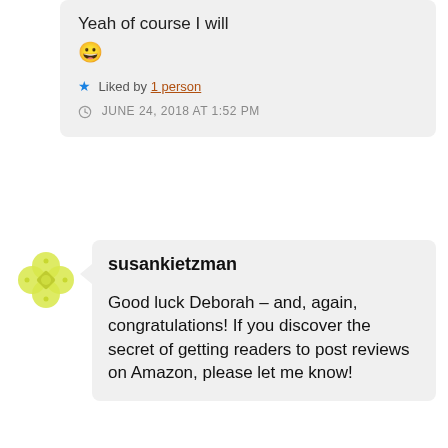Yeah of course I will 😀
Liked by 1 person
JUNE 24, 2018 AT 1:52 PM
susankietzman
Good luck Deborah – and, again, congratulations! If you discover the secret of getting readers to post reviews on Amazon, please let me know!